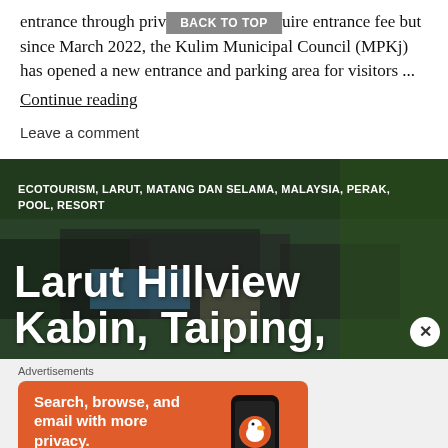entrance through private lands that require entrance fee but since March 2022, the Kulim Municipal Council (MPKj) has opened a new entrance and parking area for visitors ...
Continue reading
Leave a comment
[Figure (photo): Aerial view of Larut Hillview Kabin resort with pool and buildings surrounded by greenery, with overlay text: ECOTOURISM, LARUT, MATANG DAN SELAMA, MALAYSIA, PERAK, POOL, RESORT and title Larut Hillview Kabin, Taiping,]
Advertisements
[Figure (screenshot): DuckDuckGo advertisement banner with orange background. Text: Search, browse, and email with more privacy. All in One Free App. DuckDuckGo logo on phone mockup.]